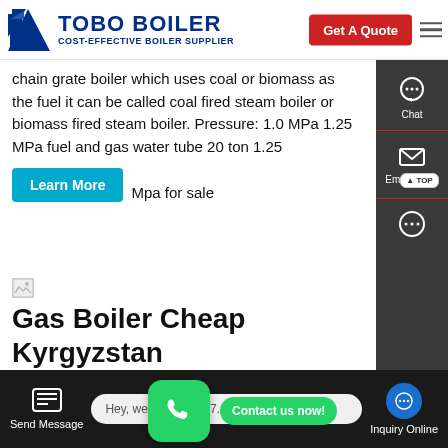TOBO BOILER - COST-EFFECTIVE BOILER SUPPLIER | Get A Quote
chain grate boiler which uses coal or biomass as the fuel it can be called coal fired steam boiler or biomass fired steam boiler. Pressure: 1.0 MPa 1.25 MPa fuel and gas water tube 20 ton 1.25 Mpa for sale
Learn More
[Figure (screenshot): Small broken image icon placeholder]
Gas Boiler Cheap Kyrgyzstan
Cheap 8t Natural Gas Condensing Boiler Kyrgyzstan. Slant/Fin S Natural Gas Water Boiler with 120,000 BTU Input, 88,000 BTU Ou termi
Contact us now!
Send Message | Hey, we are live 24/7. How may I help you? | Inquiry Online